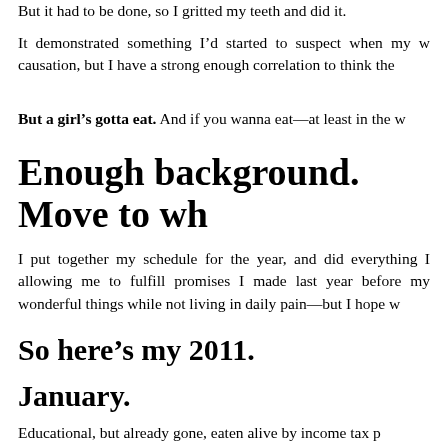But it had to be done, so I gritted my teeth and did it.
It demonstrated something I'd started to suspect when my w causation, but I have a strong enough correlation to think the
But a girl's gotta eat. And if you wanna eat—at least in the w
Enough background. Move to wh
I put together my schedule for the year, and did everything I allowing me to fulfill promises I made last year before my wonderful things while not living in daily pain—but I hope w
So here's my 2011.
January.
Educational, but already gone, eaten alive by income tax p